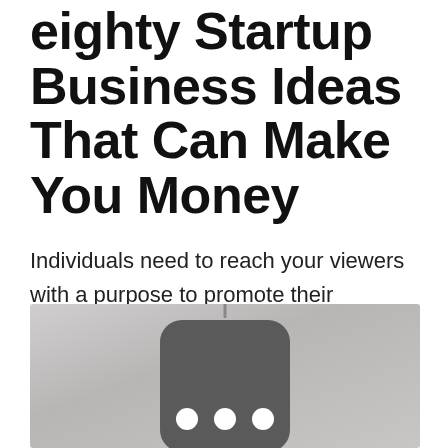eighty Startup Business Ideas That Can Make You Money
Individuals need to reach your viewers with a purpose to promote their services and products and are prepared to pay you for it. The demand of Web is growing thus beginning web enterprise makes sense.
[Figure (illustration): Grayscale image showing a robot or device with a rounded rectangular body (dark gray) against a light gray gradient background, with three white circular dots (eyes) on its face.]